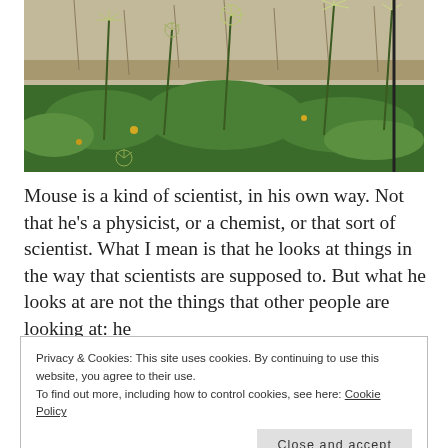[Figure (photo): Photograph of green plants and flowers (papyrus-like plants with round umbrella-shaped flower heads) in a field, with dry grass in the background.]
Mouse is a kind of scientist, in his own way. Not that he's a physicist, or a chemist, or that sort of scientist. What I mean is that he looks at things in the way that scientists are supposed to. But what he looks at are not the things that other people are looking at: he
Privacy & Cookies: This site uses cookies. By continuing to use this website, you agree to their use.
To find out more, including how to control cookies, see here: Cookie Policy
Close and accept
physicists and astronomers and biologists and so on